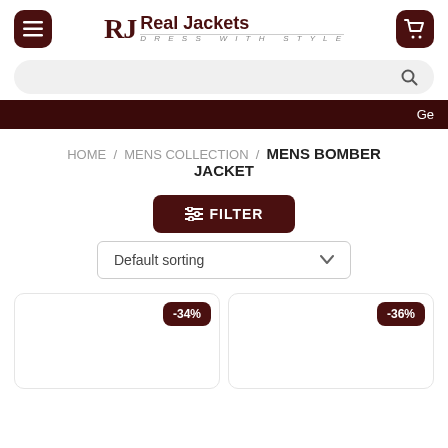Real Jackets — DRESS WITH STYLE
HOME / MENS COLLECTION / MENS BOMBER JACKET
≡ FILTER
Default sorting
[Figure (screenshot): Product card with -34% badge]
[Figure (screenshot): Product card with -36% badge]